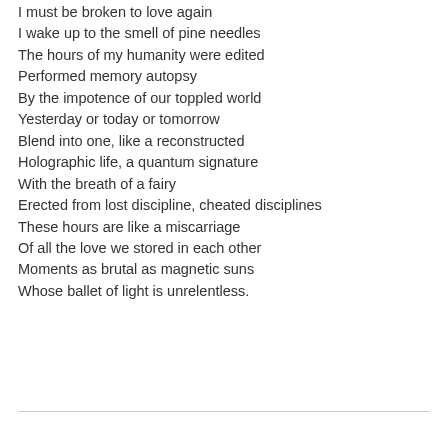I must be broken to love again
I wake up to the smell of pine needles
The hours of my humanity were edited
Performed memory autopsy
By the impotence of our toppled world
Yesterday or today or tomorrow
Blend into one, like a reconstructed
Holographic life, a quantum signature
With the breath of a fairy
Erected from lost discipline, cheated disciplines
These hours are like a miscarriage
Of all the love we stored in each other
Moments as brutal as magnetic suns
Whose ballet of light is unrelentless.